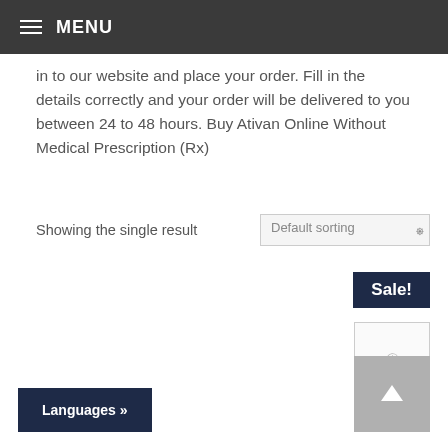MENU
in to our website and place your order. Fill in the details correctly and your order will be delivered to you between 24 to 48 hours. Buy Ativan Online Without Medical Prescription (Rx)
Showing the single result
Default sorting
Sale!
[Figure (other): Product thumbnail placeholder image]
[Figure (other): Scroll to top button with upward arrow]
Languages »